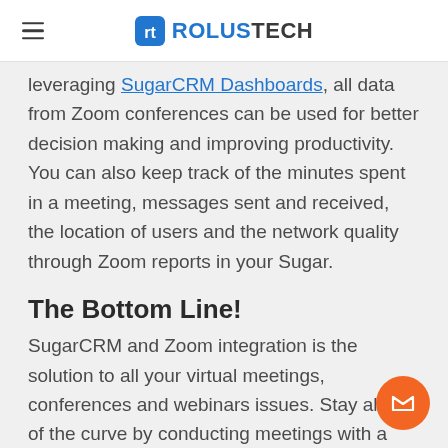ROLUSTECH
leveraging SugarCRM Dashboards, all data from Zoom conferences can be used for better decision making and improving productivity. You can also keep track of the minutes spent in a meeting, messages sent and received, the location of users and the network quality through Zoom reports in your Sugar.
The Bottom Line!
SugarCRM and Zoom integration is the solution to all your virtual meetings, conferences and webinars issues. Stay ahead of the curve by conducting meetings with a click, streamlining communication with your contact database and deriving actionable insights from the robust reporting in Sugar.